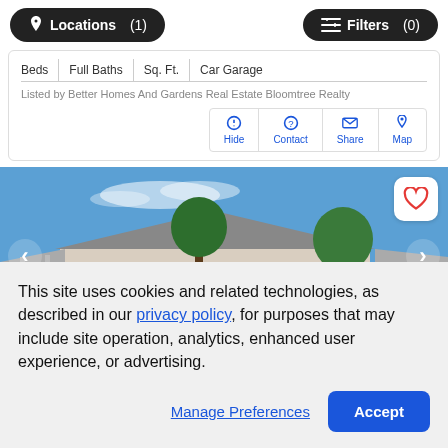Locations (1)   Filters (0)
| Beds | Full Baths | Sq. Ft. | Car Garage |
| --- | --- | --- | --- |
Listed by Better Homes And Gardens Real Estate Bloomtree Realty
Hide   Contact   Share   Map
[Figure (photo): Exterior photo of a single-story residential home with white/tan siding, large windows, green trees, blue sky with light clouds, and a carport on the right side. Navigation arrows on left and right sides, heart/favorite button in top-right corner.]
This site uses cookies and related technologies, as described in our privacy policy, for purposes that may include site operation, analytics, enhanced user experience, or advertising.
Manage Preferences   Accept